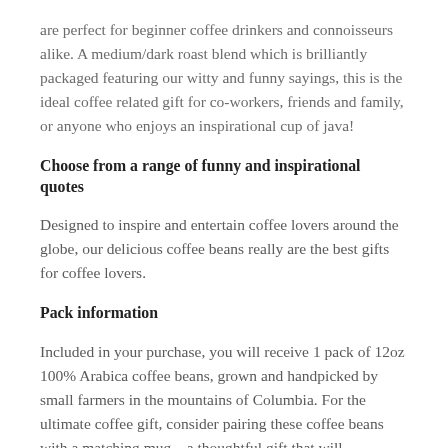are perfect for beginner coffee drinkers and connoisseurs alike. A medium/dark roast blend which is brilliantly packaged featuring our witty and funny sayings, this is the ideal coffee related gift for co-workers, friends and family, or anyone who enjoys an inspirational cup of java!
Choose from a range of funny and inspirational quotes
Designed to inspire and entertain coffee lovers around the globe, our delicious coffee beans really are the best gifts for coffee lovers.
Pack information
Included in your purchase, you will receive 1 pack of 12oz 100% Arabica coffee beans, grown and handpicked by small farmers in the mountains of Columbia. For the ultimate coffee gift, consider pairing these coffee beans with a matching mug – a thoughtful gift that will